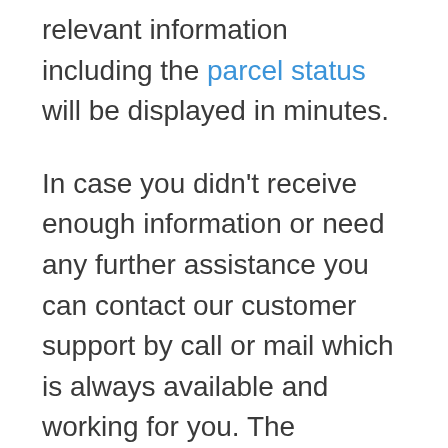relevant information including the parcel status will be displayed in minutes.
In case you didn't receive enough information or need any further assistance you can contact our customer support by call or mail which is always available and working for you. The International parcel tracking's customer support is available in multiple languages for the ease of its people.
Moreover, Nipost takes almost 48 to 72 hours to deliver the international parcels. The inbuilt tracking system of the Nipost